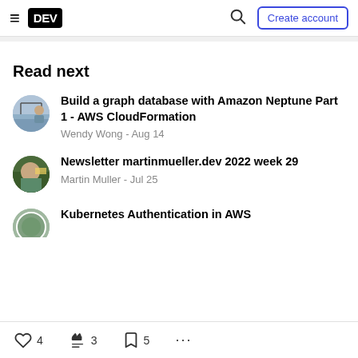DEV - Create account
Read next
Build a graph database with Amazon Neptune Part 1 - AWS CloudFormation
Wendy Wong - Aug 14
Newsletter martinmueller.dev 2022 week 29
Martin Muller - Jul 25
Kubernetes Authentication in AWS
4  3  5  ...